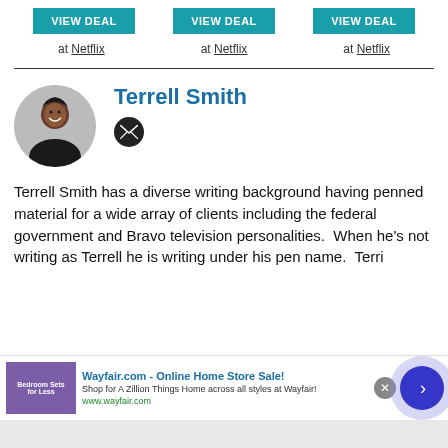[Figure (other): Three teal VIEW DEAL buttons arranged horizontally]
at Netflix   at Netflix   at Netflix
[Figure (photo): Circular profile photo of Terrell Smith, a smiling Black man in a black shirt]
Terrell Smith
[Figure (other): Email icon — circular dark button with envelope symbol]
Terrell Smith has a diverse writing background having penned material for a wide array of clients including the federal government and Bravo television personalities.  When he's not writing as Terrell he is writing under his pen name.  Terri...
[Figure (other): Wayfair.com advertisement banner: Online Home Store Sale!]